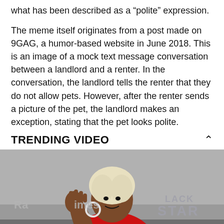what has been described as a “polite” expression.
The meme itself originates from a post made on 9GAG, a humor-based website in June 2018. This is an image of a mock text message conversation between a landlord and a renter. In the conversation, the landlord tells the renter that they do not allow pets. However, after the renter sends a picture of the pet, the landlord makes an exception, stating that the pet looks polite.
TRENDING VIDEO
[Figure (photo): A woman in a red feathered outfit waving at a camera, with event backdrop logos including Radio Times and Black Star visible behind her.]